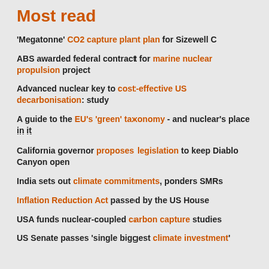Most read
'Megatonne' CO2 capture plant plan for Sizewell C
ABS awarded federal contract for marine nuclear propulsion project
Advanced nuclear key to cost-effective US decarbonisation: study
A guide to the EU's 'green' taxonomy - and nuclear's place in it
California governor proposes legislation to keep Diablo Canyon open
India sets out climate commitments, ponders SMRs
Inflation Reduction Act passed by the US House
USA funds nuclear-coupled carbon capture studies
US Senate passes 'single biggest climate investment'